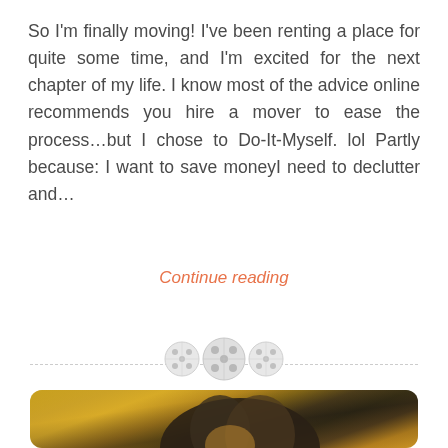So I'm finally moving! I've been renting a place for quite some time, and I'm excited for the next chapter of my life. I know most of the advice online recommends you hire a mover to ease the process…but I chose to Do-It-Myself. lol Partly because: I want to save moneyI need to declutter and…
Continue reading
[Figure (illustration): Three decorative button icons arranged as a divider separator between content sections. Two smaller buttons flank a larger center button, all in light gray.]
[Figure (photo): A couple embracing outdoors in an autumn setting with golden yellow fall foliage in the background. A woman with brown hair is smiling with eyes closed, wearing an orange/rust coat, leaning against someone.]